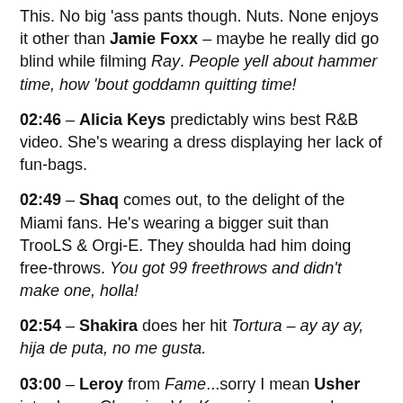This. No big ass pants though. Nuts. None enjoys it other than Jamie Foxx – maybe he really did go blind while filming Ray. People yell about hammer time, how 'bout goddamn quitting time!
02:46 – Alicia Keys predictably wins best R&B video. She's wearing a dress displaying her lack of fun-bags.
02:49 – Shaq comes out, to the delight of the Miami fans. He's wearing a bigger suit than TrooLS & Orgi-E. They shoulda had him doing free-throws. You got 99 freethrows and didn't make one, holla!
02:54 – Shakira does her hit Tortura – ay ay ay, hija de puta, no me gusta.
03:00 – Leroy from Fame...sorry I mean Usher introduces Clowning Vs. Krumping – a crunk version of clowns breakdancing. To me it looks like a slightly more acrobatic